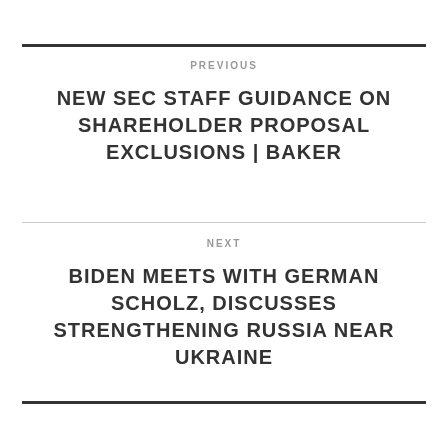PREVIOUS
NEW SEC STAFF GUIDANCE ON SHAREHOLDER PROPOSAL EXCLUSIONS | BAKER
NEXT
BIDEN MEETS WITH GERMAN SCHOLZ, DISCUSSES STRENGTHENING RUSSIA NEAR UKRAINE